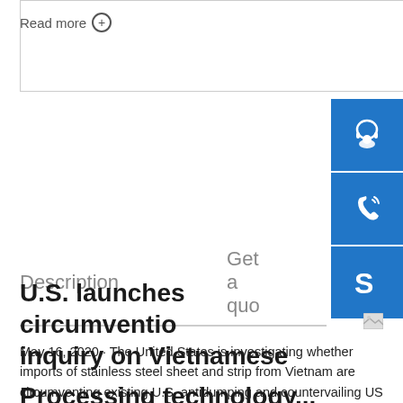Read more ⊕
Description
Get a quo
U.S. launches circumventio inquiry on Vietnamese
May 16, 2020 · The United States is investigating whether imports of stainless steel sheet and strip from Vietnam are circumventing existing U.S. antidumping and countervailing US extends conclusion of circumvention probe into local 22 hours ago · In line with the
Processing technology...